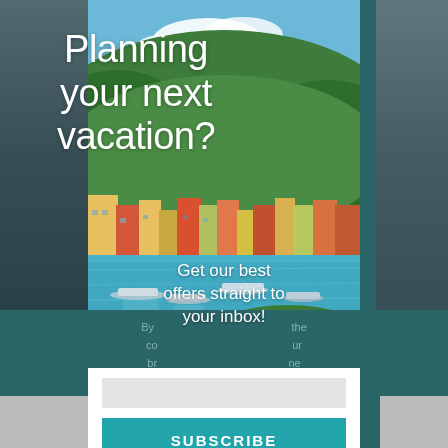[Figure (photo): Screenshot of a travel subscription popup/modal overlay on a website. Center panel shows a colorful coastal Italian town (Portofino-style) with colorful buildings, boats on turquoise water, and green hills. Left and right sides show dimmed background travel photos. Bottom section is dark teal with partially visible terms text. A white subscribe box at the bottom contains a SUBSCRIBE button in teal.]
Planning your next vacation?
Get our best offers straight to your inbox!
By ... the co... ur br... ne con... ion and... gs,
SUBSCRIBE